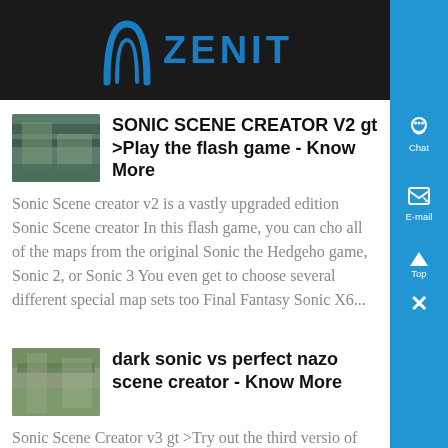ZENIT
SONIC SCENE CREATOR V2 gt >Play the flash game - Know More
Sonic Scene creator v2 is a vastly upgraded edition Sonic Scene creator In this flash game, you can cho all of the maps from the original Sonic the Hedgeho game, Sonic 2, or Sonic 3 You even get to choose several different special map sets too Final Fantasy Sonic X6...
dark sonic vs perfect nazo scene creator - Know More
Sonic Scene Creator v3 gt >Try out the third versio of The 3rd version of Sonic Scene creator continues the tradition of wacky scenes and crazy sprit Grab a